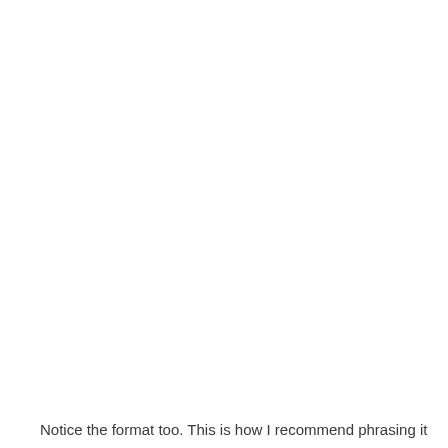Notice the format too. This is how I recommend phrasing it